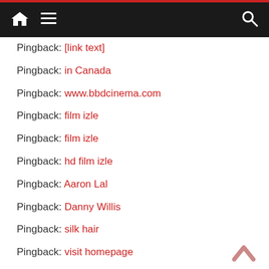Navigation bar with home, menu, and search icons
Pingback: [truncated link]
Pingback: in Canada
Pingback: www.bbdcinema.com
Pingback: film izle
Pingback: film izle
Pingback: hd film izle
Pingback: Aaron Lal
Pingback: Danny Willis
Pingback: silk hair
Pingback: visit homepage
Pingback: download mega888 test id apk